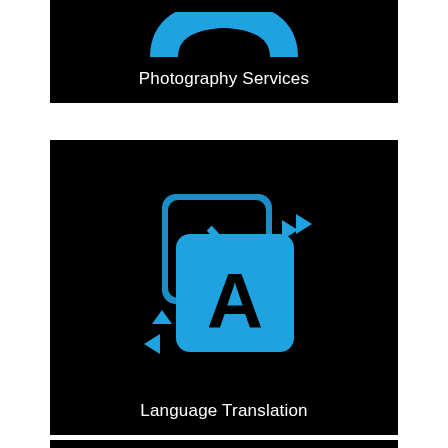[Figure (illustration): Black card with blue photography/camera-related icon (partially visible at top) and white text 'Photography Services' at bottom]
[Figure (illustration): Black card with blue translation icon (two overlapping squares with Chinese character and letter 'A', with blue arrow triangles) and white text 'Language Translation' at bottom]
[Figure (illustration): Partially visible black card at the bottom of the page]